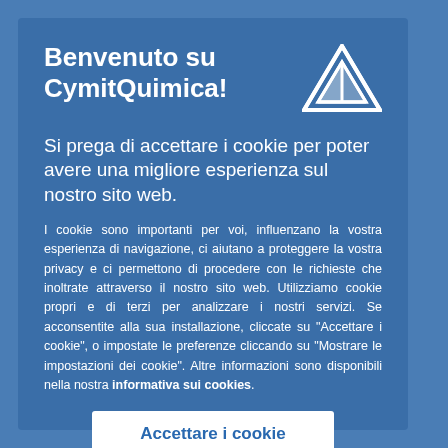Benvenuto su CymitQuimica!
Si prega di accettare i cookie per poter avere una migliore esperienza sul nostro sito web.
I cookie sono importanti per voi, influenzano la vostra esperienza di navigazione, ci aiutano a proteggere la vostra privacy e ci permettono di procedere con le richieste che inoltrate attraverso il nostro sito web. Utilizziamo cookie propri e di terzi per analizzare i nostri servizi. Se acconsentite alla sua installazione, cliccate su "Accettare i cookie", o impostate le preferenze cliccando su "Mostrare le impostazioni dei cookie". Altre informazioni sono disponibili nella nostra informativa sui cookies.
[Figure (logo): CymitQuimica triangular logo in white]
Accettare i cookie